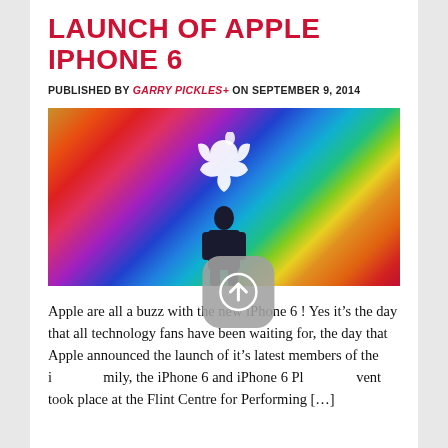LAUNCH OF APPLE IPHONE 6
PUBLISHED BY GARRY PICKLES+ ON SEPTEMBER 9, 2014
[Figure (photo): Apple event photo with colorful splash background and Apple logo, presenter on stage]
Apple are all a buzz with the new iPhone 6 ! Yes it's the day that all technology fans have been waiting for, the day that Apple announced the launch of it's latest members of the iPhone family, the iPhone 6 and iPhone 6 Plus. The event took place at the Flint Centre for Performing [...]